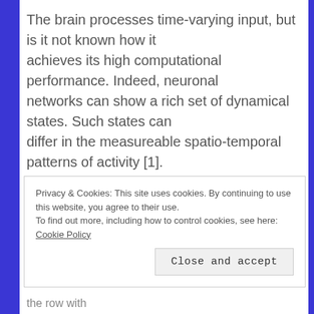The brain processes time-varying input, but is it not known how it achieves its high computational performance. Indeed, neuronal networks can show a rich set of dynamical states. Such states can differ in the measureable spatio-temporal patterns of activity [1]. But they may also differ internally, in terms of their degree to which they produce chaotic activity [2].
Privacy & Cookies: This site uses cookies. By continuing to use this website, you agree to their use. To find out more, including how to control cookies, see here: Cookie Policy
the row with